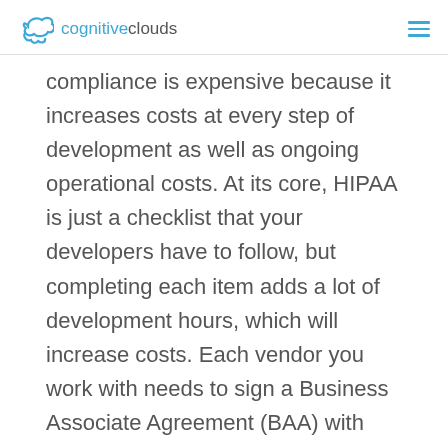cognitiveclouds
compliance is expensive because it increases costs at every step of development as well as ongoing operational costs. At its core, HIPAA is just a checklist that your developers have to follow, but completing each item adds a lot of development hours, which will increase costs. Each vendor you work with needs to sign a Business Associate Agreement (BAA) with you, which assigns liability to them if there is a data breach caused because of